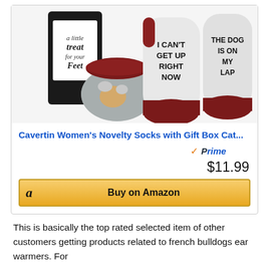[Figure (photo): Product photo of Cavertin Women's Novelty Socks with Gift Box — socks shown with bottom soles facing up displaying text 'I CAN'T GET UP RIGHT NOW' and 'THE DOG IS ON MY LAP', dark red heel/toe, gray body with dog patterns, next to a black gift box reading 'a little treat for your feet']
Cavertin Women's Novelty Socks with Gift Box Cat...
[Figure (logo): Amazon Prime badge — orange checkmark with 'Prime' in blue italic text]
$11.99
Buy on Amazon
This is basically the top rated selected item of other customers getting products related to french bulldogs ear warmers. For